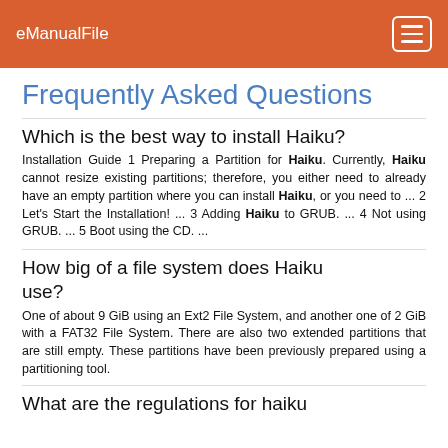eManualFile
Frequently Asked Questions
Which is the best way to install Haiku?
Installation Guide 1 Preparing a Partition for Haiku. Currently, Haiku cannot resize existing partitions; therefore, you either need to already have an empty partition where you can install Haiku, or you need to ... 2 Let's Start the Installation! ... 3 Adding Haiku to GRUB. ... 4 Not using GRUB. ... 5 Boot using the CD. ...
How big of a file system does Haiku use?
One of about 9 GiB using an Ext2 File System, and another one of 2 GiB with a FAT32 File System. There are also two extended partitions that are still empty. These partitions have been previously prepared using a partitioning tool.
What are the regulations for haiku